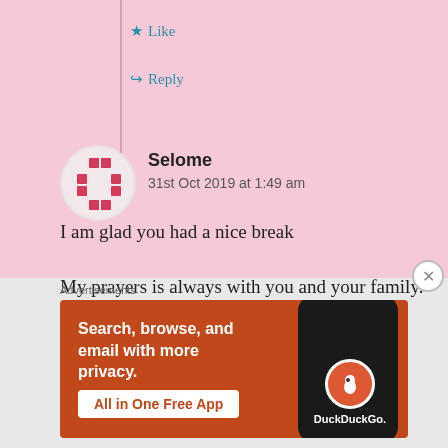Like
Reply
[Figure (screenshot): User avatar placeholder with red dashed dots arranged in a circle on white/pink background]
Selome
31st Oct 2019 at 1:49 am
I am glad you had a nice break
My prayers is always with you and your family. My lovely friend
Advertisements
[Figure (screenshot): DuckDuckGo advertisement banner with orange background showing 'Search, browse, and email with more privacy. All in One Free App' with phone mockup and DuckDuckGo logo]